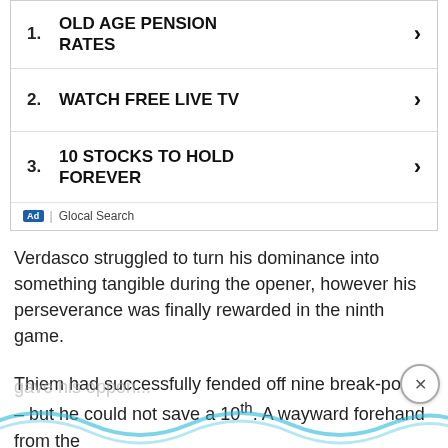1. OLD AGE PENSION RATES
2. WATCH FREE LIVE TV
3. 10 STOCKS TO HOLD FOREVER
Ad | Glocal Search
Verdasco struggled to turn his dominance into something tangible during the opener, however his perseverance was finally rewarded in the ninth game.
Thiem had successfully fended off nine break-points – but he could not save a 10th. A wayward forehand from the